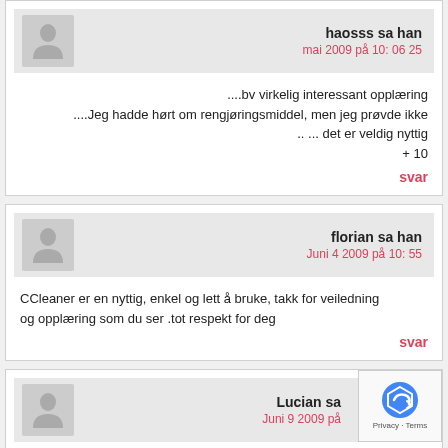haosss sa han
mai 2009 på 10: 06 25
....bv virkelig interessant opplæring
....Jeg hadde hørt om rengjøringsmiddel, men jeg prøvde ikke
.. ... det er veldig nyttig
+ 10
svar
florian sa han
Juni 4 2009 på 10: 55
CCleaner er en nyttig, enkel og lett å bruke, takk for veiledning og opplæring som du ser .tot respekt for deg
svar
Lucian sa
Juni 9 2009 på ...
multzumesc vært mer nyttig